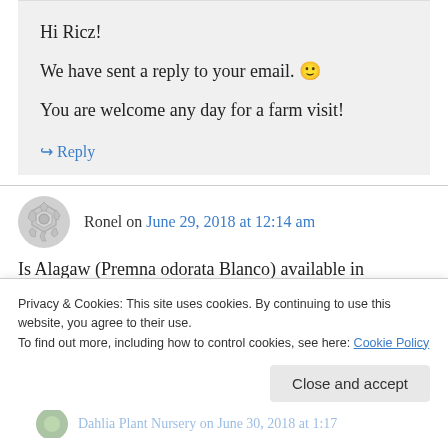Hi Ricz!

We have sent a reply to your email. 🙂

You are welcome any day for a farm visit!
↪ Reply
Ronel on June 29, 2018 at 12:14 am
Is Alagaw (Premna odorata Blanco) available in
Privacy & Cookies: This site uses cookies. By continuing to use this website, you agree to their use.
To find out more, including how to control cookies, see here: Cookie Policy
Close and accept
Dahlia Plant Nursery on June 30, 2018 at 1:17